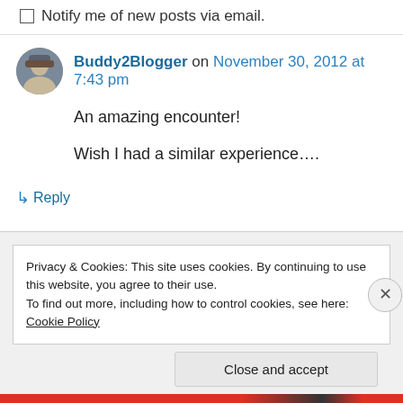Notify me of new posts via email.
Buddy2Blogger on November 30, 2012 at 7:43 pm
An amazing encounter!

Wish I had a similar experience....
↳ Reply
Privacy & Cookies: This site uses cookies. By continuing to use this website, you agree to their use.
To find out more, including how to control cookies, see here: Cookie Policy